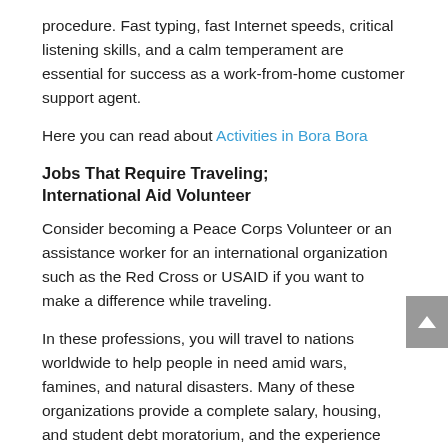procedure. Fast typing, fast Internet speeds, critical listening skills, and a calm temperament are essential for success as a work-from-home customer support agent.
Here you can read about Activities in Bora Bora
Jobs That Require Traveling; International Aid Volunteer
Consider becoming a Peace Corps Volunteer or an assistance worker for an international organization such as the Red Cross or USAID if you want to make a difference while traveling.
In these professions, you will travel to nations worldwide to help people in need amid wars, famines, and natural disasters. Many of these organizations provide a complete salary, housing, and student debt moratorium, and the experience will look impressive on your CV.